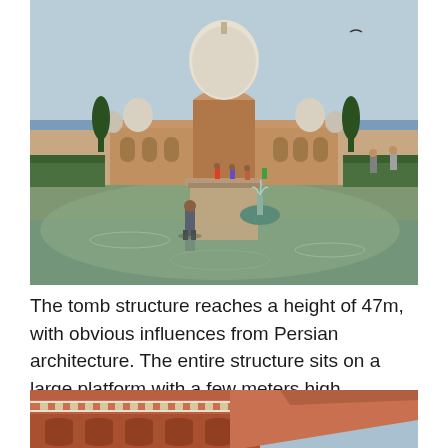[Figure (photo): Humayun's Tomb in New Delhi, India. Red sandstone Mughal architecture with a large central white dome and smaller domes. A large reflecting pool/water feature is in the foreground with a fountain. Several visitors are walking in the gardens and courtyard. Green hedgerows and cypress trees line the pathway leading to the monument. One person is standing in the water in the foreground. Clear sky visible above the structure.]
The tomb structure reaches a height of 47m, with obvious influences from Persian architecture.  The entire structure sits on a large platform with a few meters high.
[Figure (photo): Close-up partial view of ornate Mughal architectural details showing red sandstone walls with white marble inlay decorative patterns, arched niches, and geometric ornamentation against a blue sky.]